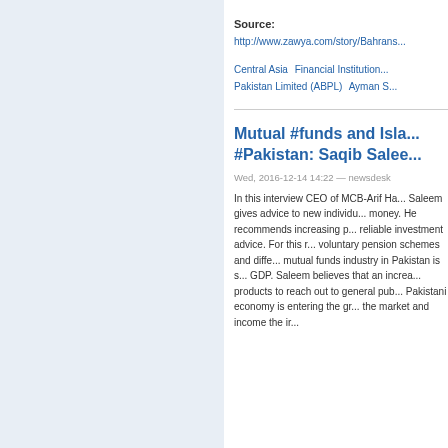Source:
http://www.zawya.com/story/Bahrans...
Central Asia   Financial Institution...   Pakistan Limited (ABPL)   Ayman S...
Mutual #funds and Isla... #Pakistan: Saqib Salee...
Wed, 2016-12-14 14:22 — newsdesk
In this interview CEO of MCB-Arif Ha... Saleem gives advice to new individu... money. He recommends increasing p... reliable investment advice. For this r... voluntary pension schemes and diffe... mutual funds industry in Pakistan is s... GDP. Saleem believes that an increa... products to reach out to general pub... Pakistani economy is entering the gr... the market and income the ir...